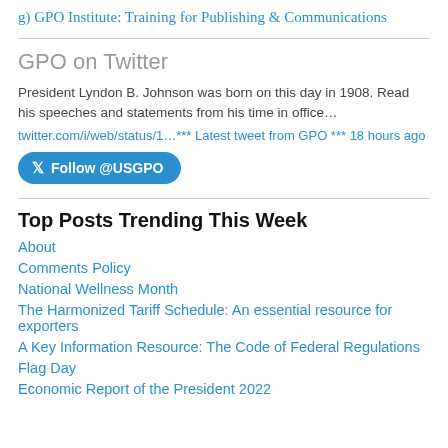g) GPO Institute: Training for Publishing & Communications
GPO on Twitter
President Lyndon B. Johnson was born on this day in 1908. Read his speeches and statements from his time in office…
twitter.com/i/web/status/1…*** Latest tweet from GPO *** 18 hours ago
Follow @USGPO
Top Posts Trending This Week
About
Comments Policy
National Wellness Month
The Harmonized Tariff Schedule: An essential resource for exporters
A Key Information Resource: The Code of Federal Regulations
Flag Day
Economic Report of the President 2022